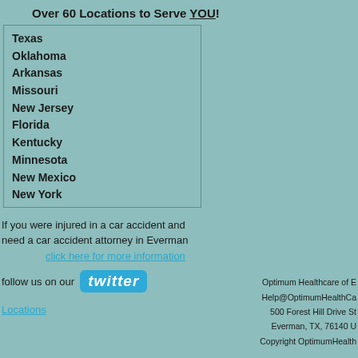Over 60 Locations to Serve YOU!
Texas
Oklahoma
Arkansas
Missouri
New Jersey
Florida
Kentucky
Minnesota
New Mexico
New York
If you were injured in a car accident and need a car accident attorney in Everman
click here for more information
follow us on our twitter
Locations
Optimum Healthcare of E... Help@OptimumHealthCa... 500 Forest Hill Drive St... Everman, TX, 76140 ... Copyright OptimumHealth...